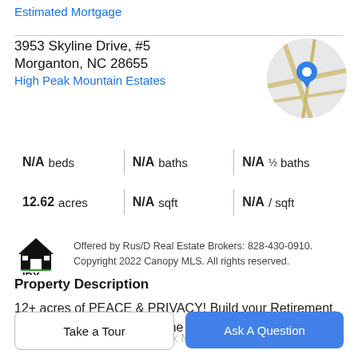Estimated Mortgage
3953 Skyline Drive, #5
Morganton, NC 28655
High Peak Mountain Estates
[Figure (map): Circular map thumbnail showing a street map with a blue location pin marker]
| Value | Unit | Value | Unit | Value | Unit |
| --- | --- | --- | --- | --- | --- |
| N/A | beds | N/A | baths | N/A | ½ baths |
| 12.62 | acres | N/A | sqft | N/A | / sqft |
[Figure (logo): IDX house logo in black with green accent]
Offered by Rus/D Real Estate Brokers: 828-430-0910. Copyright 2022 Canopy MLS. All rights reserved.
Property Description
12+ acres of PEACE & PRIVACY! Build your Retirement, Vacation, or Permanent home here in the prestigious
gated community of High Peak Mountain Estates, and
Take a Tour
Ask A Question